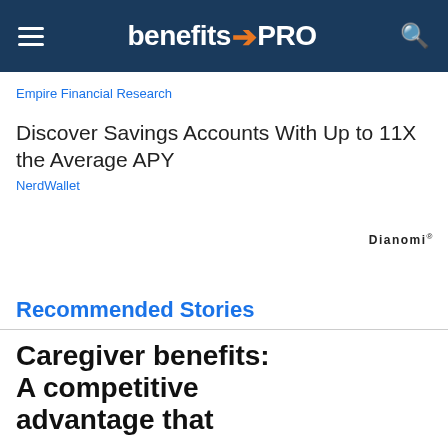benefitsPRO
Empire Financial Research
Discover Savings Accounts With Up to 11X the Average APY
NerdWallet
Dianomi
Recommended Stories
Caregiver benefits: A competitive advantage that